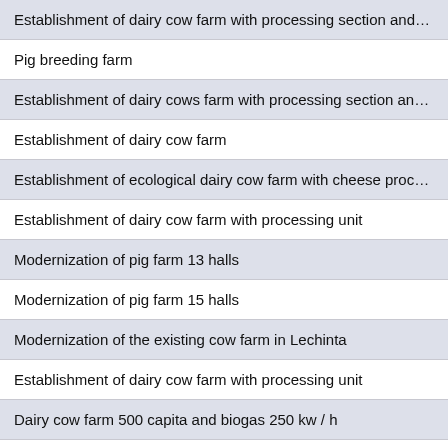| Establishment of dairy cow farm with processing section and rene |
| Pig breeding farm |
| Establishment of dairy cows farm with processing section and ren |
| Establishment of dairy cow farm |
| Establishment of ecological dairy cow farm with cheese processin |
| Establishment of dairy cow farm with processing unit |
| Modernization of pig farm 13 halls |
| Modernization of pig farm 15 halls |
| Modernization of the existing cow farm in Lechinta |
| Establishment of dairy cow farm with processing unit |
| Dairy cow farm 500 capita and biogas 250 kw / h |
| Pig farm, slaughterhouse and meat processing section |